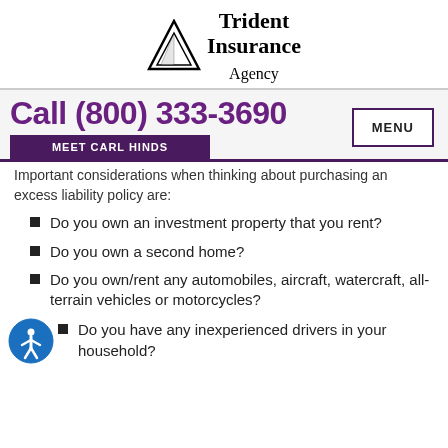[Figure (logo): Trident Insurance Agency logo with triangle graphic and company name]
Call (800) 333-3690 | MEET CARL HINDS | MENU
Important considerations when thinking about purchasing an excess liability policy are:
Do you own an investment property that you rent?
Do you own a second home?
Do you own/rent any automobiles, aircraft, watercraft, all-terrain vehicles or motorcycles?
Do you have any inexperienced drivers in your household?